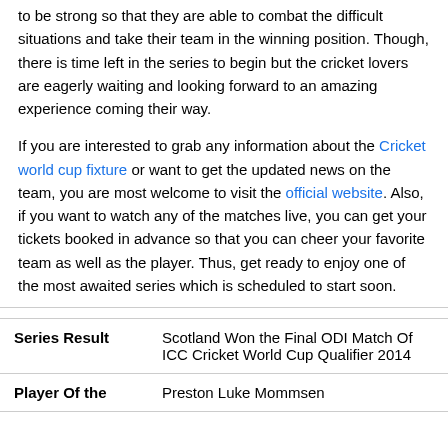to be strong so that they are able to combat the difficult situations and take their team in the winning position. Though, there is time left in the series to begin but the cricket lovers are eagerly waiting and looking forward to an amazing experience coming their way.

If you are interested to grab any information about the Cricket world cup fixture or want to get the updated news on the team, you are most welcome to visit the official website. Also, if you want to watch any of the matches live, you can get your tickets booked in advance so that you can cheer your favorite team as well as the player. Thus, get ready to enjoy one of the most awaited series which is scheduled to start soon.
| Series Result | Scotland Won the Final ODI Match Of ICC Cricket World Cup Qualifier 2014 |
| Player Of the | Preston Luke Mommsen |